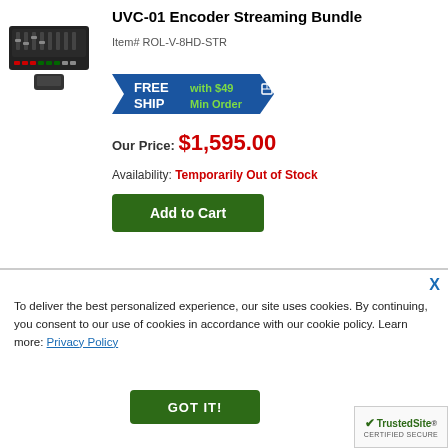[Figure (photo): Photo of Roland V-8HD video switcher with a small HDMI encoder device]
UVC-01 Encoder Streaming Bundle
Item# ROL-V-8HD-STR
[Figure (infographic): FREE SHIP with $49 Min Order banner]
Our Price: $1,595.00
Availability: Temporarily Out of Stock
Add to Cart
X
To deliver the best personalized experience, our site uses cookies. By continuing, you consent to our use of cookies in accordance with our cookie policy. Learn more: Privacy Policy
GOT IT!
[Figure (logo): TrustedSite Certified Secure badge]